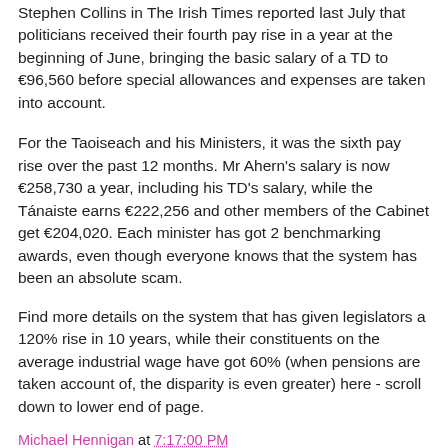Stephen Collins in The Irish Times reported last July that politicians received their fourth pay rise in a year at the beginning of June, bringing the basic salary of a TD to €96,560 before special allowances and expenses are taken into account.
For the Taoiseach and his Ministers, it was the sixth pay rise over the past 12 months. Mr Ahern's salary is now €258,730 a year, including his TD's salary, while the Tánaiste earns €222,256 and other members of the Cabinet get €204,020. Each minister has got 2 benchmarking awards, even though everyone knows that the system has been an absolute scam.
Find more details on the system that has given legislators a 120% rise in 10 years, while their constituents on the average industrial wage have got 60% (when pensions are taken account of, the disparity is even greater) here - scroll down to lower end of page.
Michael Hennigan at 7:17:00 PM